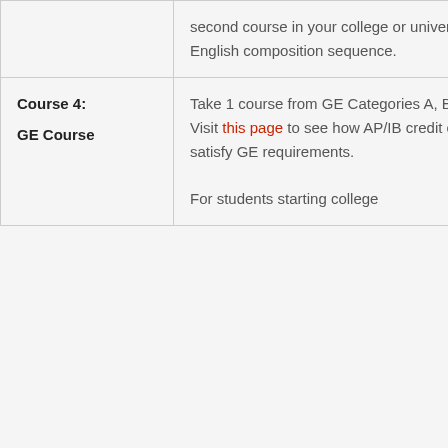| Course | Description |
| --- | --- |
|  | second course in your college or university's English composition sequence. |
| Course 4:
GE Course | Take 1 course from GE Categories A, B, or C.
Visit this page to see how AP/IB credit can satisfy GE requirements.

For students starting college |